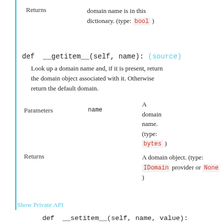Returns   domain name is in this dictionary. (type: bool)
def __getitem__(self, name):  (source)
Look up a domain name and, if it is present, return the domain object associated with it. Otherwise return the default domain.
|  |  |  |
| --- | --- | --- |
| Parameters | name | A domain name. (type: bytes) |
| Returns |  | A domain object. (type: IDomain provider or None) |
Show Private API
def __setitem__(self, name, value):